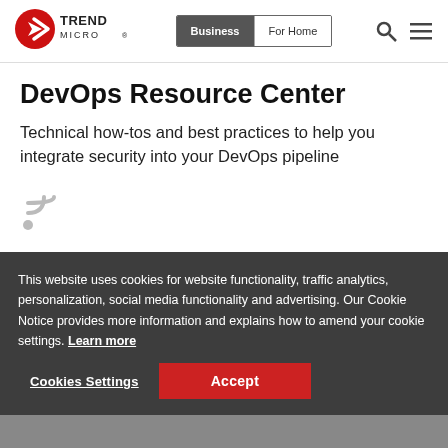[Figure (logo): Trend Micro logo - red circular icon with white arrow, text TREND MICRO]
[Figure (screenshot): Navigation bar with Business and For Home tabs, search and hamburger menu icons]
DevOps Resource Center
Technical how-tos and best practices to help you integrate security into your DevOps pipeline
[Figure (illustration): RSS feed icon in gray]
This website uses cookies for website functionality, traffic analytics, personalization, social media functionality and advertising. Our Cookie Notice provides more information and explains how to amend your cookie settings. Learn more
[Figure (screenshot): Cookie consent dialog with Cookies Settings and Accept buttons on dark overlay]